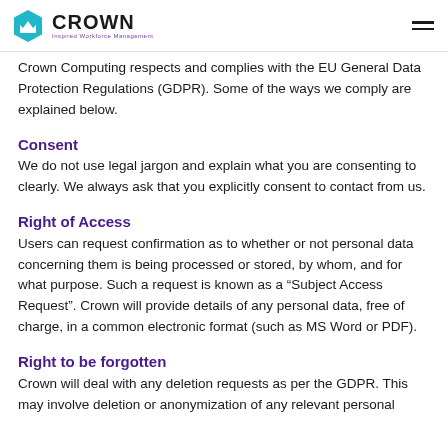Crown Inspired Workforce Management
Crown Computing respects and complies with the EU General Data Protection Regulations (GDPR). Some of the ways we comply are explained below.
Consent
We do not use legal jargon and explain what you are consenting to clearly. We always ask that you explicitly consent to contact from us.
Right of Access
Users can request confirmation as to whether or not personal data concerning them is being processed or stored, by whom, and for what purpose. Such a request is known as a “Subject Access Request”. Crown will provide details of any personal data, free of charge, in a common electronic format (such as MS Word or PDF).
Right to be forgotten
Crown will deal with any deletion requests as per the GDPR. This may involve deletion or anonymization of any relevant personal